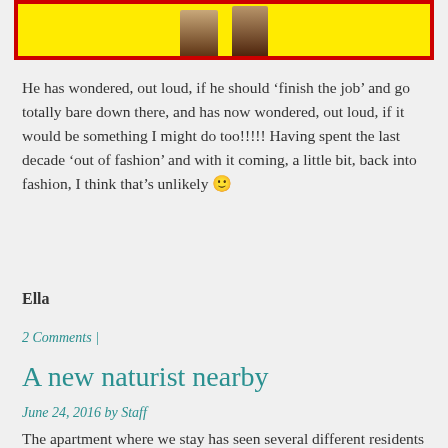[Figure (photo): Image at top of page showing human legs/figures with a yellow and red border frame]
He has wondered, out loud, if he should ‘finish the job’ and go totally bare down there, and has now wondered, out loud, if it would be something I might do too!!!!! Having spent the last decade ‘out of fashion’ and with it coming, a little bit, back into fashion, I think that’s unlikely 🙂
Ella
2 Comments |
A new naturist nearby
June 24, 2016 by Staff
The apartment where we stay has seen several different residents in the